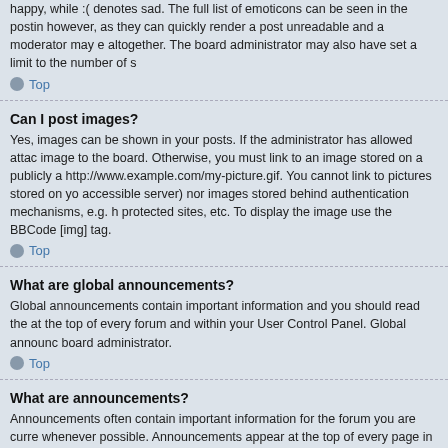happy, while :( denotes sad. The full list of emoticons can be seen in the posting however, as they can quickly render a post unreadable and a moderator may e altogether. The board administrator may also have set a limit to the number of s
Top
Can I post images?
Yes, images can be shown in your posts. If the administrator has allowed attach image to the board. Otherwise, you must link to an image stored on a publicly a http://www.example.com/my-picture.gif. You cannot link to pictures stored on yo accessible server) nor images stored behind authentication mechanisms, e.g. h protected sites, etc. To display the image use the BBCode [img] tag.
Top
What are global announcements?
Global announcements contain important information and you should read them at the top of every forum and within your User Control Panel. Global announce board administrator.
Top
What are announcements?
Announcements often contain important information for the forum you are curre whenever possible. Announcements appear at the top of every page in the foru global announcements, announcement permissions are granted by the board a
Top